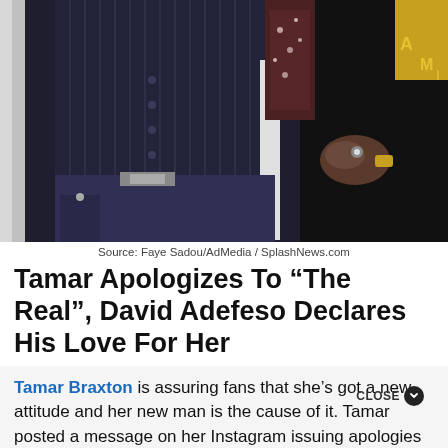[Figure (photo): Two people standing side by side at an event. One person is wearing a dark pinstripe vest over a white shirt with jeans, the other is wearing a black outfit. A gold award or logo is partially visible in the background on the right.]
Source: Faye Sadou/AdMedia / SplashNews.com
Tamar Apologizes To “The Real”, David Adefeso Declares His Love For Her
Tamar Braxton is assuring fans that she’s got a new attitude and her new man is the cause of it. Tamar posted a message on her Instagram issuing apologies to several